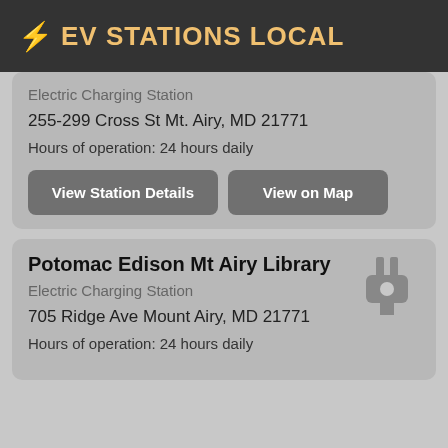⚡ EV STATIONS LOCAL
Electric Charging Station
255-299 Cross St Mt. Airy, MD 21771
Hours of operation: 24 hours daily
View Station Details
View on Map
Potomac Edison Mt Airy Library
Electric Charging Station
705 Ridge Ave Mount Airy, MD 21771
Hours of operation: 24 hours daily